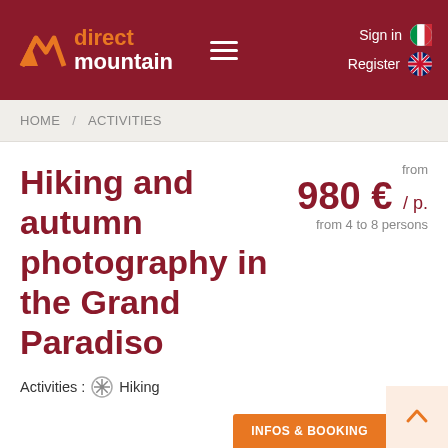[Figure (logo): Direct Mountain website header with dark red background, logo showing stylized M with orange arrow and text 'direct mountain', hamburger menu, Sign in and Register links with flag icons]
HOME / ACTIVITIES
Hiking and autumn photography in the Grand Paradiso
Activities : Hiking
from 980 € / p. from 4 to 8 persons
Duration : 7 days
Italy, Alps
Level : 400 to 600m ascent and 5 to 6h of walking per day
INFOS & BOOKING